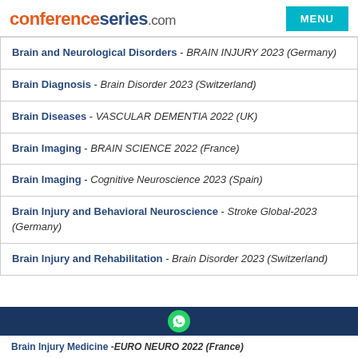conferenceseries.com | MENU
Brain and Neurological Disorders - BRAIN INJURY 2023 (Germany)
Brain Diagnosis - Brain Disorder 2023 (Switzerland)
Brain Diseases - VASCULAR DEMENTIA 2022 (UK)
Brain Imaging - BRAIN SCIENCE 2022 (France)
Brain Imaging - Cognitive Neuroscience 2023 (Spain)
Brain Injury and Behavioral Neuroscience - Stroke Global-2023 (Germany)
Brain Injury and Rehabilitation - Brain Disorder 2023 (Switzerland)
Brain Injury Medicine - EURO NEURO 2022 (France)